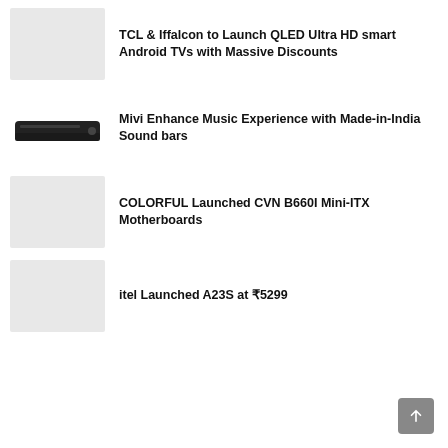TCL & Iffalcon to Launch QLED Ultra HD smart Android TVs with Massive Discounts
Mivi Enhance Music Experience with Made-in-India Sound bars
COLORFUL Launched CVN B660I Mini-ITX Motherboards
itel Launched A23S at ₹5299